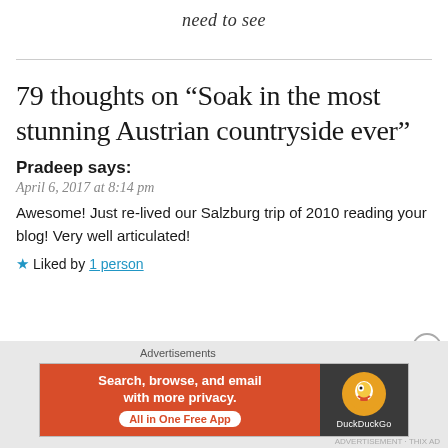need to see
79 thoughts on “Soak in the most stunning Austrian countryside ever”
Pradeep says:
April 6, 2017 at 8:14 pm
Awesome! Just re-lived our Salzburg trip of 2010 reading your blog! Very well articulated!
★ Liked by 1 person
[Figure (screenshot): DuckDuckGo advertisement banner with orange background text 'Search, browse, and email with more privacy. All in One Free App' and DuckDuckGo logo on dark background]